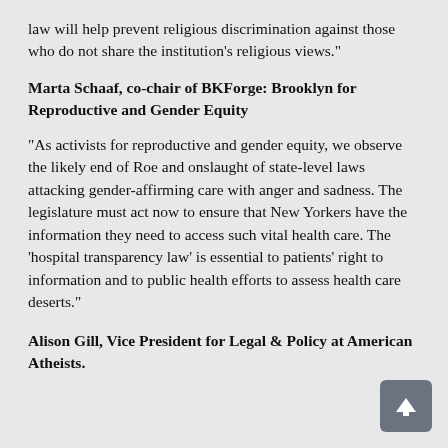law will help prevent religious discrimination against those who do not share the institution's religious views."
Marta Schaaf, co-chair of BKForge: Brooklyn for Reproductive and Gender Equity
"As activists for reproductive and gender equity, we observe the likely end of Roe and onslaught of state-level laws attacking gender-affirming care with anger and sadness. The legislature must act now to ensure that New Yorkers have the information they need to access such vital health care. The 'hospital transparency law' is essential to patients' right to information and to public health efforts to assess health care deserts."
Alison Gill, Vice President for Legal & Policy at American Atheists.